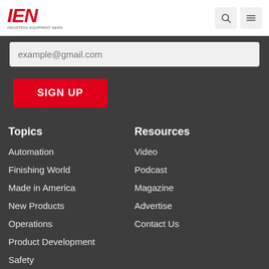IEN INDUSTRIAL EQUIPMENT NEWS
example@gmail.com
SIGN UP
Topics
Automation
Finishing World
Made in America
New Products
Operations
Product Development
Safety
Resources
Video
Podcast
Magazine
Advertise
Contact Us